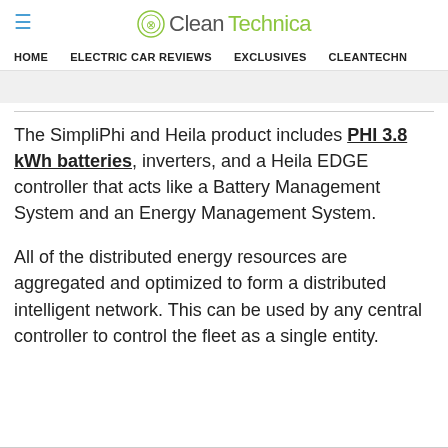CleanTechnica
HOME   ELECTRIC CAR REVIEWS   EXCLUSIVES   CLEANTECHN
The SimpliPhi and Heila product includes PHI 3.8 kWh batteries, inverters, and a Heila EDGE controller that acts like a Battery Management System and an Energy Management System.
All of the distributed energy resources are aggregated and optimized to form a distributed intelligent network. This can be used by any central controller to control the fleet as a single entity.